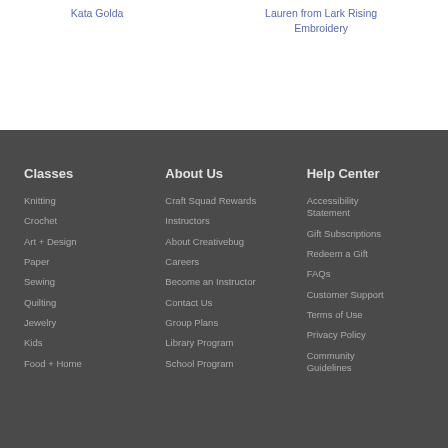Kata Golda
Lauren from Lark Rising Embroidery
Classes
Knitting
Crochet
Art + Design
Paper
Sewing
Quilting
Jewelry
Kids
Food + Home
About Us
Craft Squad Rewards
Instructors
About Creativebug
Careers
Become an Instructor
Contact Us
Group Plans
Library Program
School Program
Help Center
Accessibility Statement
Gift Subscriptions
Redeem a Gift
FAQs
Customer Support
Terms of Use
Privacy Policy
Community Guidelines